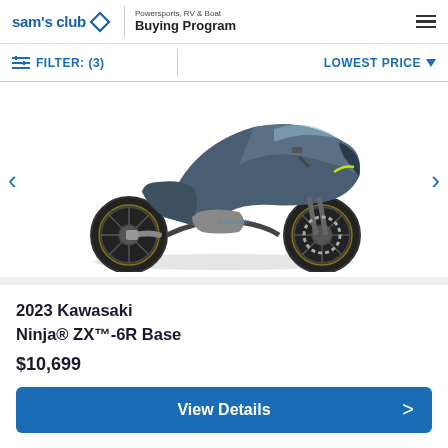sam's club | Powersports, RV & Boat Buying Program
FILTER: (3) | LOWEST PRICE
[Figure (photo): 2023 Kawasaki Ninja ZX-6R motorcycle in dark blue/slate color, side profile view, on white background with left and right navigation arrows]
2023 Kawasaki Ninja® ZX™-6R Base
$10,699
View Details